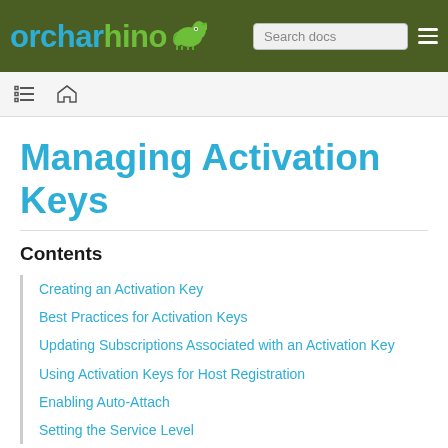orcharhino — Search docs
Managing Activation Keys
Contents
Creating an Activation Key
Best Practices for Activation Keys
Updating Subscriptions Associated with an Activation Key
Using Activation Keys for Host Registration
Enabling Auto-Attach
Setting the Service Level